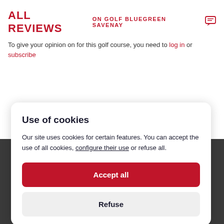ALL REVIEWS ON GOLF BLUEGREEN SAVENAY
To give your opinion on for this golf course, you need to log in or subscribe
ABOUT US
Use of cookies
Our site uses cookies for certain features. You can accept the use of all cookies, configure their use or refuse all.
Accept all
Refuse